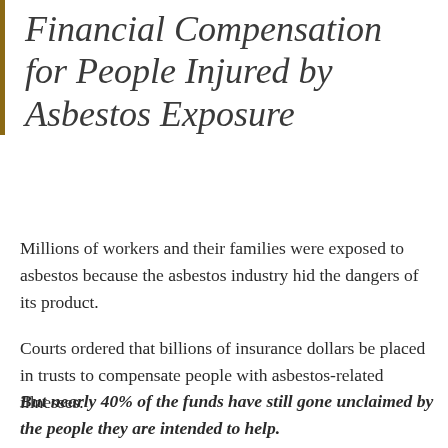Financial Compensation for People Injured by Asbestos Exposure
Millions of workers and their families were exposed to asbestos because the asbestos industry hid the dangers of its product.
Courts ordered that billions of insurance dollars be placed in trusts to compensate people with asbestos-related illnesses.
But nearly 40% of the funds have still gone unclaimed by the people they are intended to help.